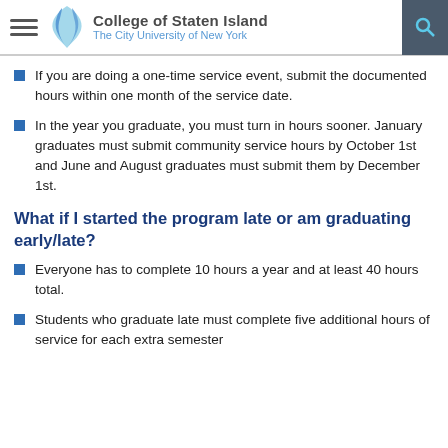College of Staten Island – The City University of New York
If you are doing a one-time service event, submit the documented hours within one month of the service date.
In the year you graduate, you must turn in hours sooner. January graduates must submit community service hours by October 1st and June and August graduates must submit them by December 1st.
What if I started the program late or am graduating early/late?
Everyone has to complete 10 hours a year and at least 40 hours total.
Students who graduate late must complete five additional hours of service for each extra semester